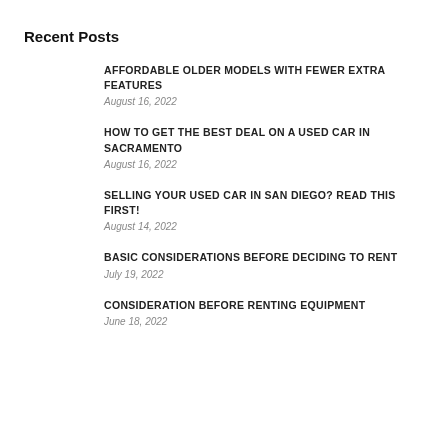Recent Posts
AFFORDABLE OLDER MODELS WITH FEWER EXTRA FEATURES
August 16, 2022
HOW TO GET THE BEST DEAL ON A USED CAR IN SACRAMENTO
August 16, 2022
SELLING YOUR USED CAR IN SAN DIEGO? READ THIS FIRST!
August 14, 2022
BASIC CONSIDERATIONS BEFORE DECIDING TO RENT
July 19, 2022
CONSIDERATION BEFORE RENTING EQUIPMENT
June 18, 2022